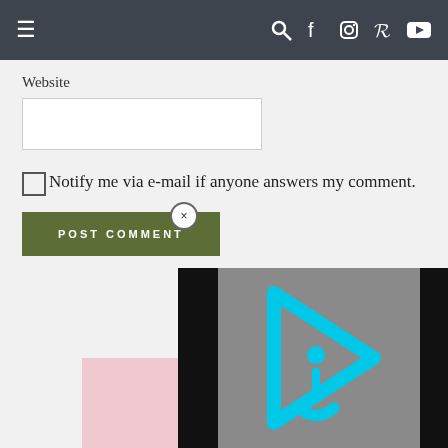Navigation bar with hamburger menu and social icons (search, facebook, instagram, pinterest, youtube)
Website
Notify me via e-mail if anyone answers my comment.
POST COMMENT
[Figure (screenshot): Video player overlay with cyan/blue triangular play button logo on gray background, flanked by black bars]
HI, I'M ROSIE! WE...
[Figure (photo): Partial photo of a person with pink background, cropped at bottom]